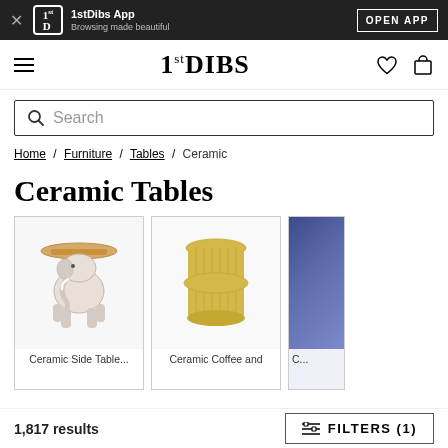1stDibs App — Browsing made beautiful — OPEN APP
1stDIBS navigation with hamburger menu, heart icon, and bag icon
Search
Home / Furniture / Tables / Ceramic
Ceramic Tables
[Figure (photo): Three partial product cards: ceramic elephant side table, yellow ceramic coffee table, and a partially visible third item]
Ceramic Coffee and
1,817 results
FILTERS (1)